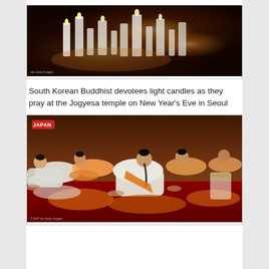[Figure (photo): South Korean Buddhist devotees lighting candles at Jogyesa temple on New Year's Eve in Seoul. Dark background with many glowing white candles illuminated.]
South Korean Buddhist devotees light candles as they pray at the Jogyesa temple on New Year's Eve in Seoul
[Figure (photo): People wearing white and orange robes bowing deeply in prostration on a red carpet inside a temple. A red label reading 'JAPAN' is in the top left corner. Photo credited to AFP via Getty Images.]